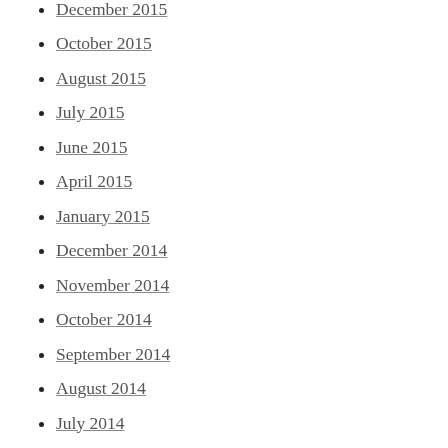December 2015
October 2015
August 2015
July 2015
June 2015
April 2015
January 2015
December 2014
November 2014
October 2014
September 2014
August 2014
July 2014
May 2014
April 2014
March 2014
February 2014
January 2014